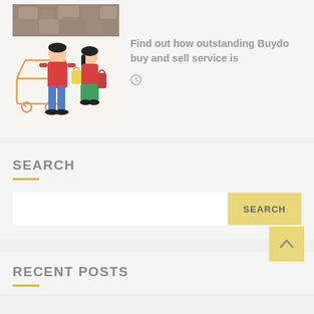[Figure (illustration): Shopping illustration showing two people with a cart and shopping bags, above a stone/gravel image thumbnail]
Find out how outstanding Buydo buy and sell service is
SEARCH
SEARCH (button)
RECENT POSTS